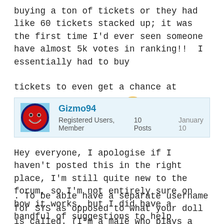buying a ton of tickets or they had like 60 tickets stacked up; it was the first time I'd ever seen someone have almost 5k votes in ranking!!  I essentially had to buy tickets to even get a chance at winning the prizes. 😢
Gizmo94
Registered Users, Member    10 Posts    January 10
Hey everyone, I apologise if I haven't posted this in the right place, I'm still quite new to the forum, so I'm not entirely sure on how it works, but I did have a handful of suggestions to help improve the game.
. To be able have a separate username for SYS as opposed to what your doll is called. (I'm a male who plays a female game, so it would be extremely helpful for me, and possibly a few others. So it wouldn't be a girls name